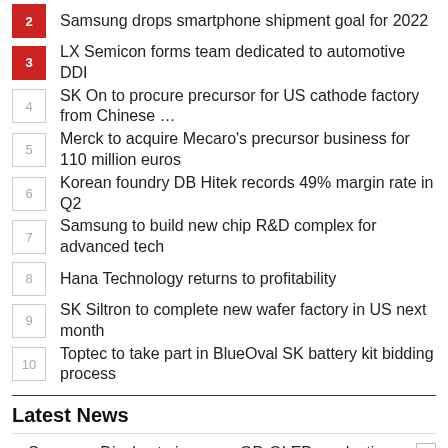2 Samsung drops smartphone shipment goal for 2022
3 LX Semicon forms team dedicated to automotive DDI
4 SK On to procure precursor for US cathode factory from Chinese …
5 Merck to acquire Mecaro's precursor business for 110 million euros
6 Korean foundry DB Hitek records 49% margin rate in Q2
7 Samsung to build new chip R&D complex for advanced tech
8 Hana Technology returns to profitability
9 SK Siltron to complete new wafer factory in US next month
10 Toptec to take part in BlueOval SK battery kit bidding process
Latest News
Samsung Display to increase QD-OLED production capacity by 30%
[Figure (photo): Dark blue image with a play/video icon, related to Samsung Display QD-OLED article]